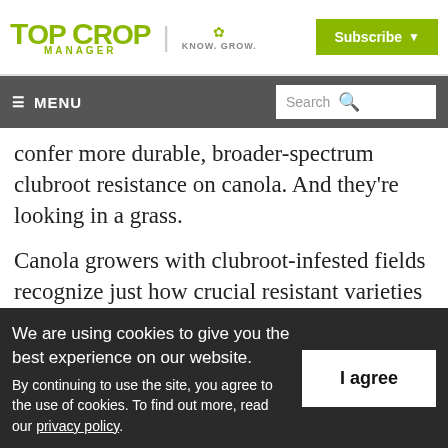TOP CROP MANAGER | KNOW. GROW. | Subscribe
≡ MENU | Search
confer more durable, broader-spectrum clubroot resistance on canola. And they're looking in a grass.
Canola growers with clubroot-infested fields recognize just how crucial resistant varieties
We are using cookies to give you the best experience on our website. By continuing to use the site, you agree to the use of cookies. To find out more, read our privacy policy.